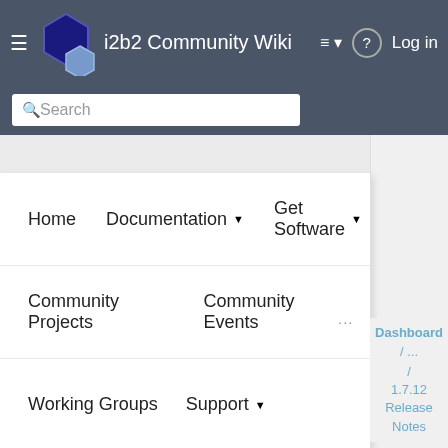i2b2 Community Wiki
Search
Home   Documentation ▾   Get Software ▾
Community Projects   Community Events
Working Groups   Support ▾
...
Dashboard
 / ...
 / 1.7.12 Release Notes